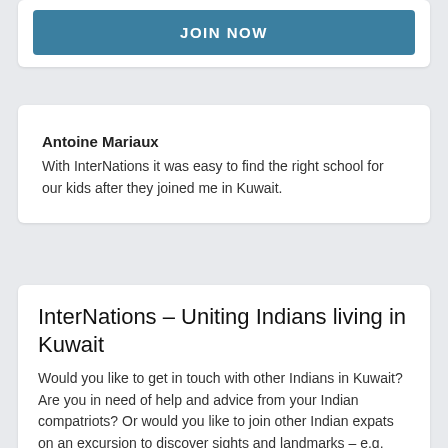JOIN NOW
Antoine Mariaux
With InterNations it was easy to find the right school for our kids after they joined me in Kuwait.
InterNations – Uniting Indians living in Kuwait
Would you like to get in touch with other Indians in Kuwait? Are you in need of help and advice from your Indian compatriots? Or would you like to join other Indian expats on an excursion to discover sights and landmarks – e.g. Bubiyan Island?
Whether you have settled as an expat in Kuwait or are still